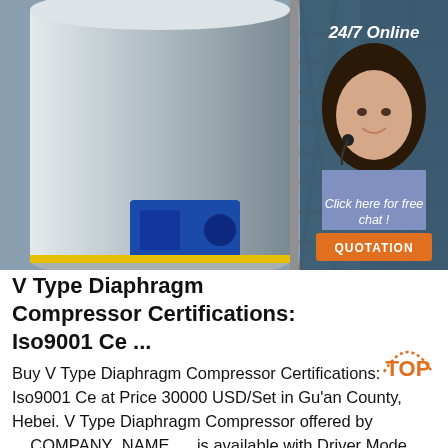[Figure (photo): Industrial diaphragm compressor equipment in a facility, large cylindrical tank with ladder and blue electric motor. Sidebar shows a female customer service agent with headset and '24/7 Online' label, 'Click here for free chat!' text, and an orange QUOTATION button.]
V Type Diaphragm Compressor Certifications: Iso9001 Ce ...
Buy V Type Diaphragm Compressor Certifications: Iso9001 Ce at Price 30000 USD/Set in Gu'an County, Hebei. V Type Diaphragm Compressor offered by __COMPANY_NAME __ is available with Driver Mode, Lubrication Type and trade information